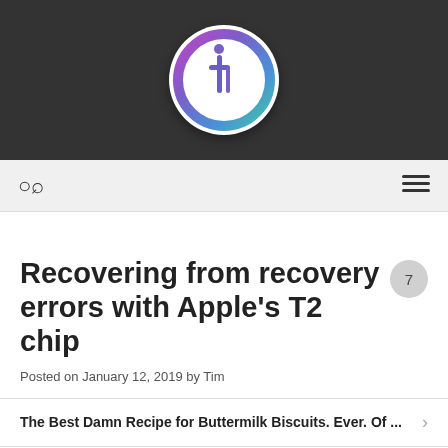[Figure (logo): Circular logo with colorful gradient ring (purple to cyan) and a stylized 'it' lettermark inside a white circle, on a dark gray background header bar]
Search | Menu
Recovering from recovery errors with Apple's T2 chip
Posted on January 12, 2019 by Tim
The Best Damn Recipe for Buttermilk Biscuits. Ever. Of ...
Apple puts macOS Server On the Chopping Block